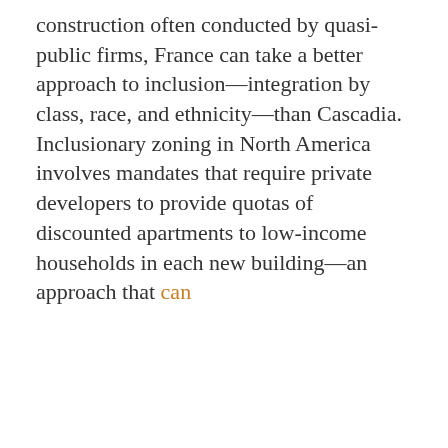construction often conducted by quasi-public firms, France can take a better approach to inclusion—integration by class, race, and ethnicity—than Cascadia. Inclusionary zoning in North America involves mandates that require private developers to provide quotas of discounted apartments to low-income households in each new building—an approach that can
STAY INFORMED
Subscribe to our newsletter to get more Housing + Urbanism research, analysis, and other policy updates delivered to your inbox
SIGN UP